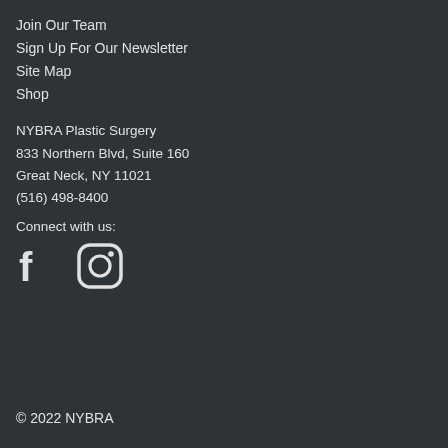Join Our Team
Sign Up For Our Newsletter
Site Map
Shop
NYBRA Plastic Surgery
833 Northern Blvd, Suite 160
Great Neck, NY 11021
(516) 498-8400
Connect with us:
[Figure (illustration): Facebook and Instagram social media icons]
© 2022 NYBRA